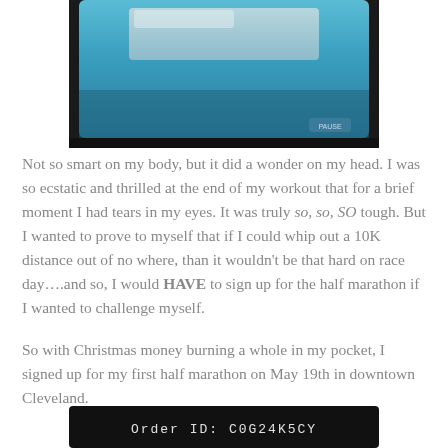[Figure (photo): A treadmill or exercise equipment display screen showing blue screen, partially cropped at top of page]
Not so smart on my body, but it did a wonder on my head. I was so ecstatic and thrilled at the end of my workout that for a brief moment I had tears in my eyes. It was truly so, so, SO tough. But I wanted to prove to myself that if I could whip out a 10K distance out of no where, than it wouldn't be that hard on race day….and so, I would HAVE to sign up for the half marathon if I wanted to challenge myself.
So with Christmas money burning a whole in my pocket, I signed up for my first half marathon on May 19th in downtown Cleveland.
[Figure (photo): A treadmill or exercise equipment display screen showing order ID or confirmation number, partially cropped at bottom of page]